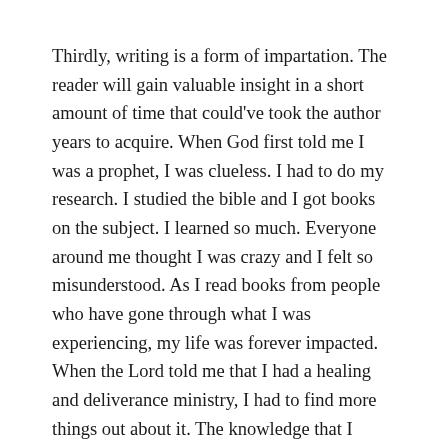Thirdly, writing is a form of impartation. The reader will gain valuable insight in a short amount of time that could've took the author years to acquire. When God first told me I was a prophet, I was clueless. I had to do my research. I studied the bible and I got books on the subject. I learned so much. Everyone around me thought I was crazy and I felt so misunderstood. As I read books from people who have gone through what I was experiencing, my life was forever impacted. When the Lord told me that I had a healing and deliverance ministry, I had to find more things out about it. The knowledge that I gained from reading books was immense.